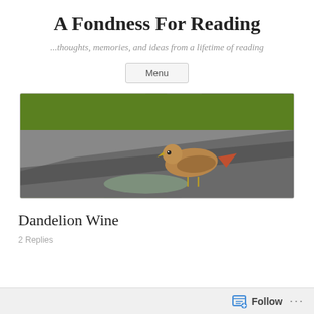A Fondness For Reading
...thoughts, memories, and ideas from a lifetime of reading
Menu
[Figure (photo): A hawk or bird of prey standing on a wet asphalt road near a puddle, with green grass in the background.]
Dandelion Wine
2 Replies
Follow ...